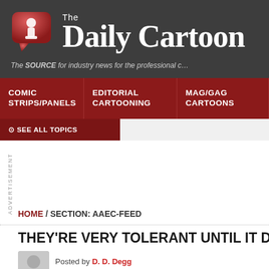The Daily Cartoon — The SOURCE for industry news for the professional c…
COMIC STRIPS/PANELS
EDITORIAL CARTOONING
MAG/GAG CARTOONS
SEE ALL TOPICS
ADVERTISEMENT
HOME / SECTION: AAEC-FEED
THEY'RE VERY TOLERANT UNTIL IT DISAGR…
Posted by D. D. Degg
March 15, 2019